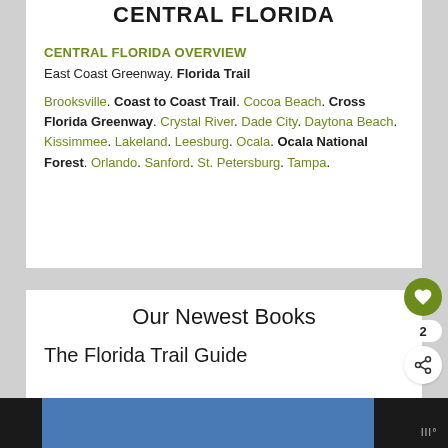CENTRAL FLORIDA
CENTRAL FLORIDA OVERVIEW
East Coast Greenway. Florida Trail
Brooksville. Coast to Coast Trail. Cocoa Beach. Cross Florida Greenway. Crystal River. Dade City. Daytona Beach. Kissimmee. Lakeland. Leesburg. Ocala. Ocala National Forest. Orlando. Sanford. St. Petersburg. Tampa.
Our Newest Books
The Florida Trail Guide